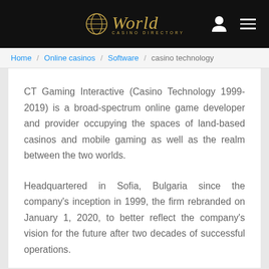World Casino Directory
Home / Online casinos / Software / casino technology
CT Gaming Interactive (Casino Technology 1999-2019) is a broad-spectrum online game developer and provider occupying the spaces of land-based casinos and mobile gaming as well as the realm between the two worlds.
Headquartered in Sofia, Bulgaria since the company's inception in 1999, the firm rebranded on January 1, 2020, to better reflect the company's vision for the future after two decades of successful operations.
A new corporate division was formed in 2012